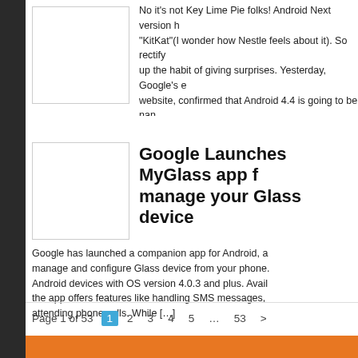[Figure (illustration): Thumbnail image placeholder box for first article]
No it’s not Key Lime Pie folks! Android Next version h… “KitKat”(I wonder how Nestle feels about it). So rectify… up the habit of giving surprises. Yesterday, Google’s e… website, confirmed that Android 4.4 is going to be nan…
[Figure (illustration): Thumbnail image placeholder box for Google MyGlass article]
Google Launches MyGlass app for manage your Glass device
Google has launched a companion app for Android, a… manage and configure Glass device from your phone.… Android devices with OS version 4.0.3 and plus. Avail… the app offers features like handling SMS messages,… attending phone calls. While […]
Page 1 of 53  1  2  3  4  5  …  53  >